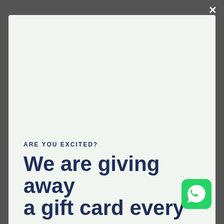ARE YOU EXCITED?
We are giving away a gift card every